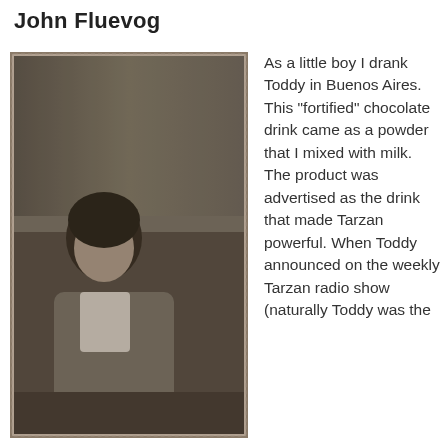John Fluevog
[Figure (photo): Black and white photograph of a woman with short dark hair sitting in a chair, wearing a grey knit vest over a white blouse. Behind her on the wall hangs a framed portrait of a woman with a short dark hairstyle. The photo has a vintage, sepia-toned quality with worn edges.]
As a little boy I drank Toddy in Buenos Aires. This "fortified" chocolate drink came as a powder that I mixed with milk. The product was advertised as the drink that made Tarzan powerful. When Toddy announced on the weekly Tarzan radio show (naturally Toddy was the